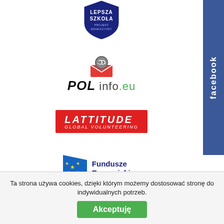[Figure (logo): Lepsza Szkoła shield logo — dark blue shield with text LEPSZA SZKOŁA and subtitle]
[Figure (logo): POLinfo.eu logo — brain/book icon above bold italic text POL info.eu]
[Figure (logo): Lattitude Global Volunteering logo — red rectangle with white italic uppercase text]
[Figure (logo): Fundusze Europejskie Program Regionalny logo — EU flag variant with text]
[Figure (logo): Facebook sidebar blue vertical banner with 'facebook' text rotated]
Ta strona używa cookies, dzięki którym możemy dostosować stronę do indywidualnych potrzeb.
Akceptuję